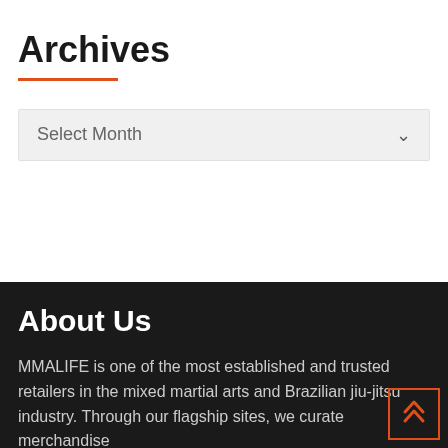Archives
Select Month
About Us
MMALIFE is one of the most established and trusted retailers in the mixed martial arts and Brazilian jiu-jitsu industry. Through our flagship sites, we curate merchandise